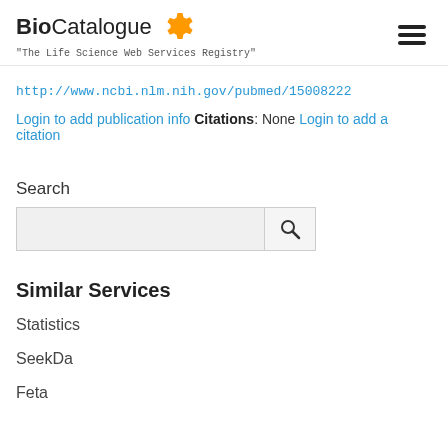BioCatalogue — The Life Science Web Services Registry
http://www.ncbi.nlm.nih.gov/pubmed/15008222
Login to add publication info Citations: None Login to add a citation
Search
Similar Services
Statistics
SeekDa
Feta